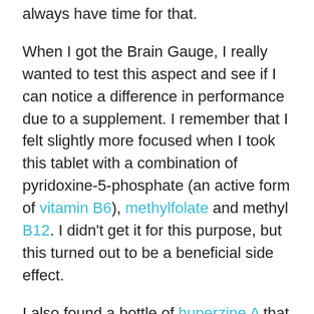always have time for that.
When I got the Brain Gauge, I really wanted to test this aspect and see if I can notice a difference in performance due to a supplement. I remember that I felt slightly more focused when I took this tablet with a combination of pyridoxine-5-phosphate (an active form of vitamin B6), methylfolate and methyl B12. I didn't get it for this purpose, but this turned out to be a beneficial side effect.
I also found a bottle of huperzine A that I had bought a long while back and I stopped using because I didn't notice it working. So I took both the B vitamin and huperzine A just to see if I could notice any measurable difference with the Brain Gauge, and surprisingly enough, it did show some improvement.